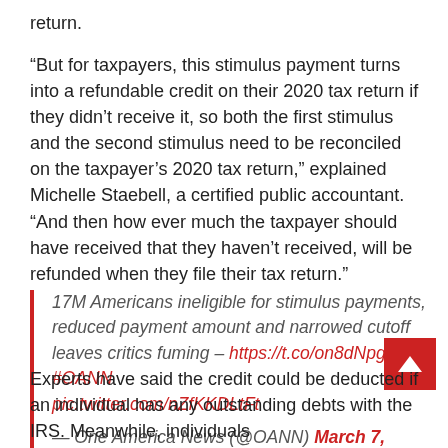return.
“But for taxpayers, this stimulus payment turns into a refundable credit on their 2020 tax return if they didn’t receive it, so both the first stimulus and the second stimulus need to be reconciled on the taxpayer’s 2020 tax return,” explained Michelle Staebell, a certified public accountant. “And then how ever much the taxpayer should have received that they haven’t received, will be refunded when they file their tax return.”
17M Americans ineligible for stimulus payments, reduced payment amount and narrowed cutoff leaves critics fuming – https://t.co/on8dNpg0o2 #OANN pic.twitter.com/nZfKKDLtFt

— One America News (@OANN) March 7, 2021
Experts have said the credit could be deducted if an individual has any outstanding debts with the IRS. Meanwhile, individuals